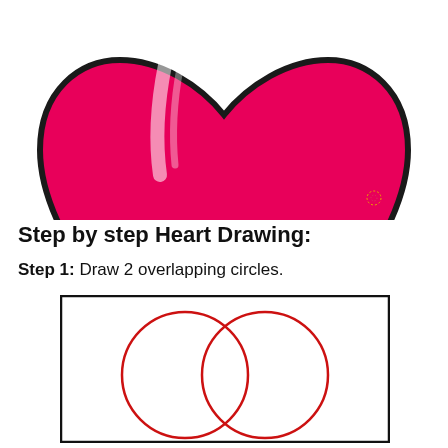[Figure (illustration): A large pink/red heart illustration with a white highlight streak, black outline, shown cropped from the top (only lower half visible)]
Step by step Heart Drawing:
Step 1: Draw 2 overlapping circles.
[Figure (illustration): A black-bordered rectangle containing two overlapping red circles (Venn diagram style), demonstrating step 1 of drawing a heart]